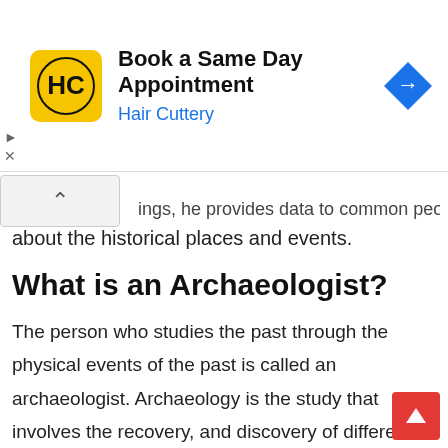[Figure (other): Hair Cuttery advertisement banner with logo and navigation arrow icon. Text: 'Book a Same Day Appointment' and 'Hair Cuttery']
ings, he provides data to common people about the historical places and events.
What is an Archaeologist?
The person who studies the past through the physical events of the past is called an archaeologist. Archaeology is the study that involves the recovery, and discovery of different artifacts. The word originated from a Greek word that refers to the study of ancient incidents... an archaeologist study and practice